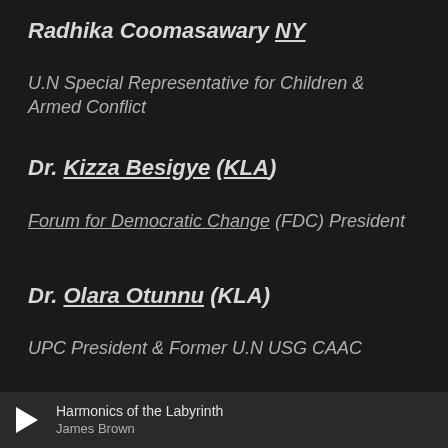Radhika Coomasawary (NY)
U.N Special Representative for Children & Armed Conflict
Dr. Kizza Besigye (KLA)
Forum for Democratic Change (FDC) President
Dr. Olara Otunnu (KLA)
UPC President & Former U.N USG CAAC
Harmonics of the Labyrinth — James Brown